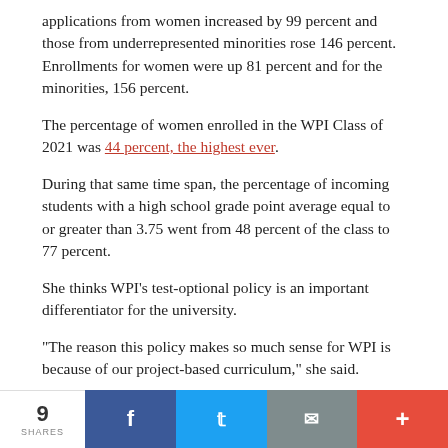applications from women increased by 99 percent and those from underrepresented minorities rose 146 percent. Enrollments for women were up 81 percent and for the minorities, 156 percent.
The percentage of women enrolled in the WPI Class of 2021 was 44 percent, the highest ever.
During that same time span, the percentage of incoming students with a high school grade point average equal to or greater than 3.75 went from 48 percent of the class to 77 percent.
She thinks WPI's test-optional policy is an important differentiator for the university.
"The reason this policy makes so much sense for WPI is because of our project-based curriculum," she said.
"This is not the kind of institution where you can excel if you are simply a good test taker. This is the kind of place that requires you to roll up your sleeves and work shoulder to shoulder with other students on problem solving, on coming up with creative approaches to issues and demonstrating your capacity to take the...
9 SHARES | Facebook | Twitter | Email | +